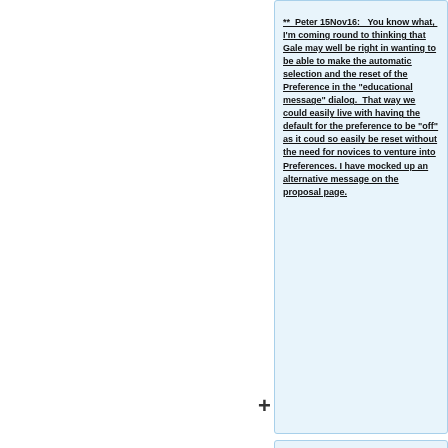** Peter 15Nov16: You know what, I'm coming round to thinking that Gale may well be right in wanting to be able to make the automatic selection and the reset of the Preference in the "educational message" dialog. That way we could easily live with having the default for the preference to be "off" as it coud so easily be reset without the need for novices to venture into Preferences. I have mocked up an alternative message on the proposal page.
** '''Gale 15Nov16:''' I'm ambivalent if you force the preference off until users see the dialogue and choose